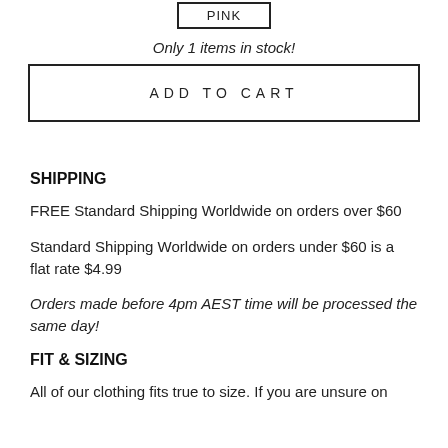PINK
Only 1 items in stock!
ADD TO CART
SHIPPING
FREE Standard Shipping Worldwide on orders over $60
Standard Shipping Worldwide on orders under $60 is a flat rate $4.99
Orders made before 4pm AEST time will be processed the same day!
FIT & SIZING
All of our clothing fits true to size. If you are unsure on